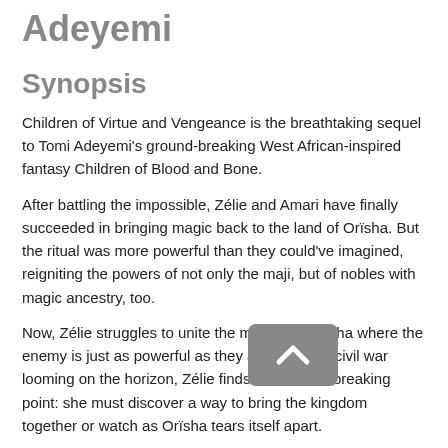Adeyemi
Synopsis
Children of Virtue and Vengeance is the breathtaking sequel to Tomi Adeyemi's ground-breaking West African-inspired fantasy Children of Blood and Bone.
After battling the impossible, Zélie and Amari have finally succeeded in bringing magic back to the land of Orïsha. But the ritual was more powerful than they could've imagined, reigniting the powers of not only the maji, but of nobles with magic ancestry, too.
Now, Zélie struggles to unite the maji in an Orïsha where the enemy is just as powerful as they are. But with civil war looming on the horizon, Zélie finds herself at a breaking point: she must discover a way to bring the kingdom together or watch as Orïsha tears itself apart.
About the Author